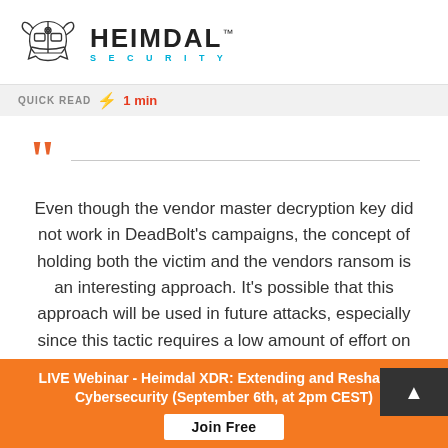[Figure (logo): Heimdal Security logo: viking helmet outline illustration with HEIMDAL™ SECURITY text]
QUICK READ ⚡ 1 min
Even though the vendor master decryption key did not work in DeadBolt's campaigns, the concept of holding both the victim and the vendors ransom is an interesting approach. It's possible that this approach will be used in future attacks, especially since this tactic requires a low amount of effort on the part of
LIVE Webinar - Heimdal XDR: Extending and Reshaping Cybersecurity (September 6th, at 2pm CEST)
Join Free